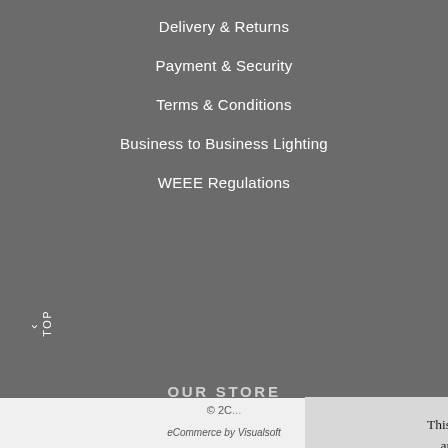Delivery & Returns
Payment & Security
Terms & Conditions
Business to Business Lighting
WEEE Regulations
OUR STORE
This site uses cookies to provide and improve your shopping experience. If you want to benefit from this improved service, please opt-in. Cookies Page.
I opt-in to a better browsing experience
ACCEPT COOKIES
© 2C...
eCommerce by Visualsoft